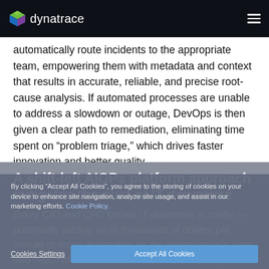dynatrace
automatically route incidents to the appropriate team, empowering them with metadata and context that results in accurate, reliable, and precise root-cause analysis. If automated processes are unable to address a slowdown or outage, DevOps is then given a clear path to remediation, eliminating time spent on “problem triage,” which drives faster innovation and better quality.
A shift-left AIOPs platform approach mitigates the cost of IT downtime
Every CIO and CFO knows IT downtime is costly — potentially adding up to thousands of dollars per minute or more depending on the organization’s size and reach of services. But what may be as significant is the impact